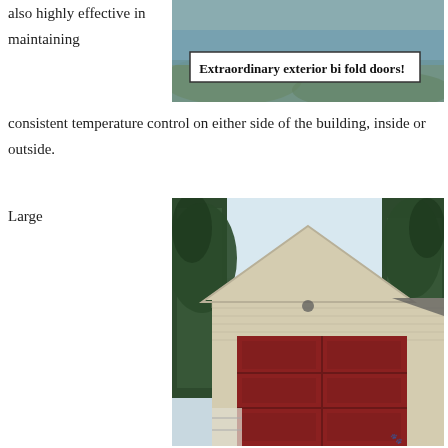also highly effective in maintaining
[Figure (photo): Exterior bi fold doors photo with caption overlay 'Extraordinary exterior bi fold doors!']
consistent temperature control on either side of the building, inside or outside.
Large
[Figure (photo): Large garage with red bi-fold doors on a beige house surrounded by trees]